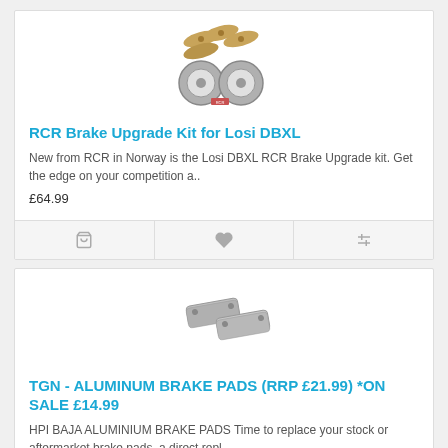[Figure (photo): RCR Brake Upgrade Kit product photo showing brake pads and discs]
RCR Brake Upgrade Kit for Losi DBXL
New from RCR in Norway is the Losi DBXL RCR Brake Upgrade kit. Get the edge on your competition a..
£64.99
[Figure (photo): TGN Aluminum Brake Pads product photo showing two metallic brake pads]
TGN - ALUMINUM BRAKE PADS (RRP £21.99) *ON SALE £14.99
HPI BAJA ALUMINIUM BRAKE PADS Time to replace your stock or aftermarket brake pads, a direct repl..
£14.99